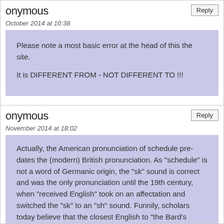onymous
October 2014 at 10:38
Please note a most basic error at the head of this the site.

It is DIFFERENT FROM - NOT DIFFERENT TO !!!
onymous
November 2014 at 18:02
Actually, the American pronunciation of schedule pre-dates the (modern) British pronunciation. As "schedule" is not a word of Germanic origin, the "sk" sound is correct and was the only pronunciation until the 19th century, when "received English" took on an affectation and switched the "sk" to an "sh" sound. Funnily, scholars today believe that the closest English to "the Bard's English" heard today is an American accent from the South-- and any American accent is closer to how...